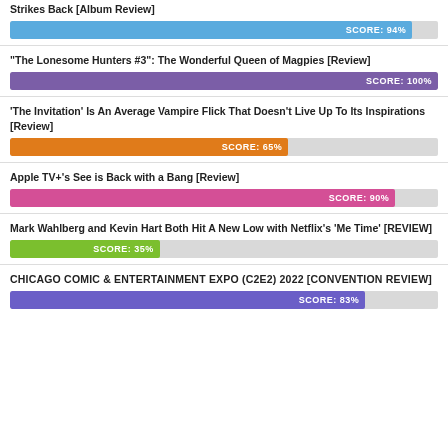Strikes Back [Album Review]
[Figure (bar-chart): Score bar]
“The Lonesome Hunters #3”: The Wonderful Queen of Magpies [Review]
[Figure (bar-chart): Score bar]
‘The Invitation’ Is An Average Vampire Flick That Doesn’t Live Up To Its Inspirations [Review]
[Figure (bar-chart): Score bar]
Apple TV+’s See is Back with a Bang [Review]
[Figure (bar-chart): Score bar]
Mark Wahlberg and Kevin Hart Both Hit A New Low with Netflix’s ‘Me Time’ [REVIEW]
[Figure (bar-chart): Score bar]
CHICAGO COMIC & ENTERTAINMENT EXPO (C2E2) 2022 [CONVENTION REVIEW]
[Figure (bar-chart): Score bar]